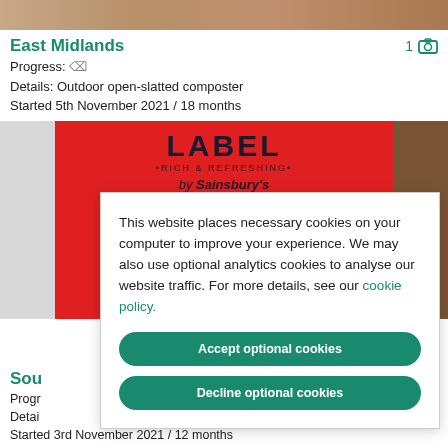[Figure (photo): Top of page showing a partial photo with brown/tan colors (top of composting area)]
East Midlands
Progress: ✓
Details: Outdoor open-slatted composter
Started 5th November 2021 / 18 months
[Figure (photo): Photo of a red Sainsbury's tea box showing LABEL, RICH & REFRESHING, by Sainsbury's, 240 TEA BAGS]
This website places necessary cookies on your computer to improve your experience. We may also use optional analytics cookies to analyse our website traffic. For more details, see our cookie policy.
Accept optional cookies | Decline optional cookies
Sou...
Progr...
Detai...
Started 3rd November 2021 / 12 months